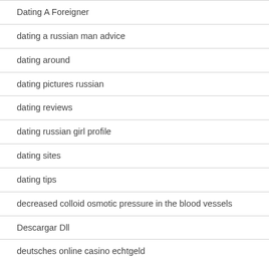Dating A Foreigner
dating a russian man advice
dating around
dating pictures russian
dating reviews
dating russian girl profile
dating sites
dating tips
decreased colloid osmotic pressure in the blood vessels
Descargar Dll
deutsches online casino echtgeld